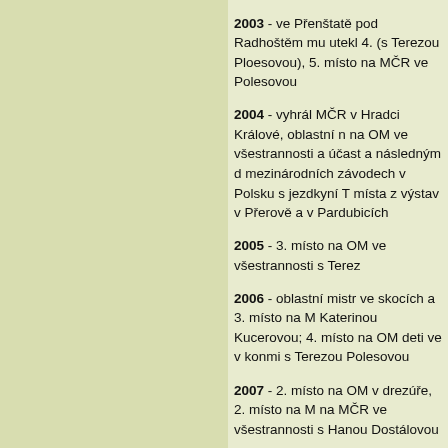2003 - ve Přenštatě pod Radhoštěm mu utekl 4. (s Terezou Ploesovou), 5. místo na MČR ve Polesovou
2004 - vyhrál MČR v Hradci Králové, oblastní n na OM ve všestrannosti a účast a následným d mezinárodních závodech v Polsku s jezdkyní T místa z výstav v Přerově a v Pardubicích
2005 - 3. místo na OM ve všestrannosti s Terez
2006 - oblastní mistr ve skocích a 3. místo na M Katerinou Kucerovou; 4. místo na OM deti ve v konmi s Terezou Polesovou
2007 - 2. místo na OM v drezúře, 2. místo na M na MČR ve všestrannosti s Hanou Dostálovou
2008 - oblastní mistr ve skocích v Trojanovicích všestrannosti v Žadlovicích a 2. místo na OM v vše s Hanou Dostálovou
2009 - Oblastní mistr a 7. místo na MČR ve vše Dostálovou; 8. místo na MČR ve skocích s Len
2010 - podruhé vyhrál MČR ve skocích ve Zdu OM ve skocích v Třeštine a 4. místo na MČR v Vendulou Rokytovou.
V loňském roce působil v plemetbitbě na Slove sportovního pony. V letošním roce bude hřebec
Připouštěcí poplatek 2 000 Kč bez DPH